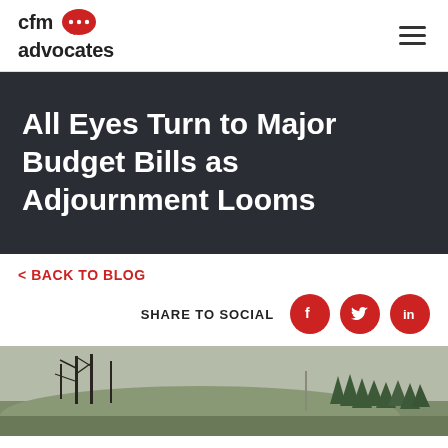cfm advocates
All Eyes Turn to Major Budget Bills as Adjournment Looms
< BACK TO BLOG
SHARE TO SOCIAL
[Figure (photo): Outdoor landscape photo showing bare trees on a hillside with evergreen trees in the background]